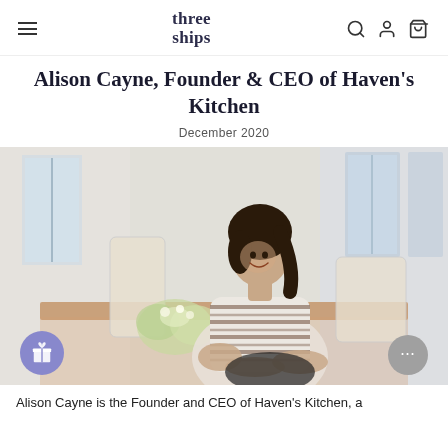three ships
Alison Cayne, Founder & CEO of Haven's Kitchen
December 2020
[Figure (photo): Photo of Alison Cayne sitting at a wooden table in a bright, airy room with large windows, wearing a striped top, smiling at the camera. Green flowers in foreground.]
Alison Cayne is the Founder and CEO of Haven's Kitchen, a